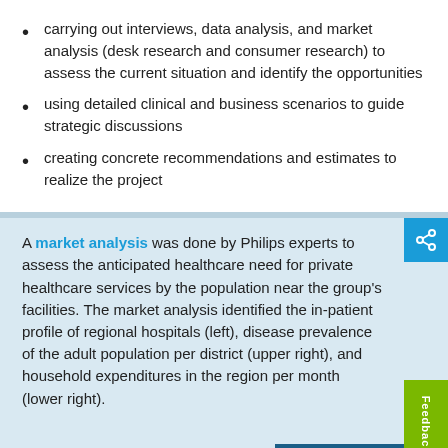carrying out interviews, data analysis, and market analysis (desk research and consumer research) to assess the current situation and identify the opportunities
using detailed clinical and business scenarios to guide strategic discussions
creating concrete recommendations and estimates to realize the project
A market analysis was done by Philips experts to assess the anticipated healthcare need for private healthcare services by the population near the group's facilities. The market analysis identified the in-patient profile of regional hospitals (left), disease prevalence of the adult population per district (upper right), and household expenditures in the region per month (lower right).
[Figure (other): healthcare transformation services logo/image placeholder at bottom]